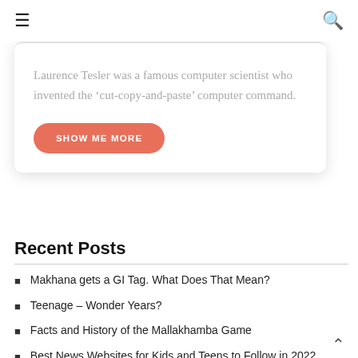☰  🔍
Laurence Tesler was a famous computer scientist who invented the 'cut-copy-and-paste' computer command.
SHOW ME MORE
Recent Posts
Makhana gets a GI Tag. What Does That Mean?
Teenage – Wonder Years?
Facts and History of the Mallakhamba Game
Best News Websites for Kids and Teens to Follow in 2022
Fun Facts About Mars